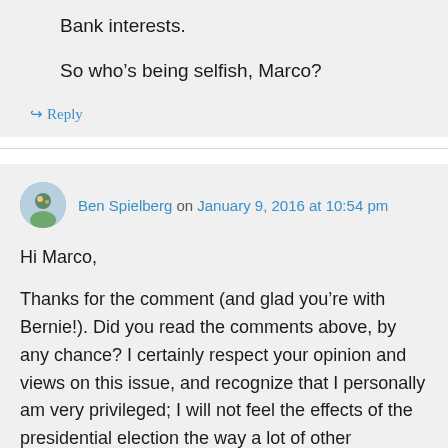Bank interests.
So who's being selfish, Marco?
↳ Reply
Ben Spielberg on January 9, 2016 at 10:54 pm
Hi Marco,
Thanks for the comment (and glad you're with Bernie!). Did you read the comments above, by any chance? I certainly respect your opinion and views on this issue, and recognize that I personally am very privileged; I will not feel the effects of the presidential election the way a lot of other